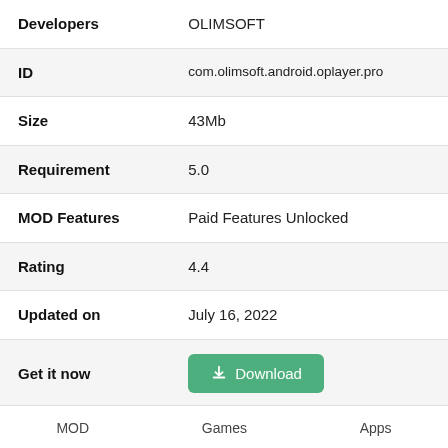| Field | Value |
| --- | --- |
| Developers | OLIMSOFT |
| ID | com.olimsoft.android.oplayer.pro |
| Size | 43Mb |
| Requirement | 5.0 |
| MOD Features | Paid Features Unlocked |
| Rating | 4.4 |
| Updated on | July 16, 2022 |
| Get it now | Download |
MOD   Games   Apps